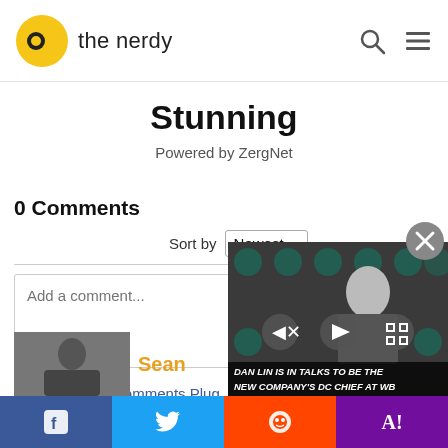the nerdy
Stunning
Powered by ZergNet
0 Comments
Sort by Newest
Add a comment...
Facebook Comments Plugin
[Figure (screenshot): Video overlay showing a man at an awards event with BAFTA logos. Text overlay: DAN LIN IS IN TALKS TO BE THE NEW COMPANY'S DC CHIEF AT WB. Video player controls visible.]
Facebook | Twitter | Reddit | Yahoo